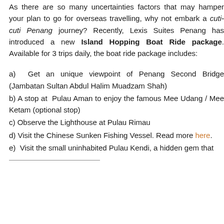As there are so many uncertainties factors that may hamper your plan to go for overseas travelling, why not embark a cuti-cuti Penang journey? Recently, Lexis Suites Penang has introduced a new Island Hopping Boat Ride package. Available for 3 trips daily, the boat ride package includes:
a)  Get an unique viewpoint of Penang Second Bridge (Jambatan Sultan Abdul Halim Muadzam Shah)
b) A stop at Pulau Aman to enjoy the famous Mee Udang / Mee Ketam (optional stop)
c) Observe the Lighthouse at Pulau Rimau
d) Visit the Chinese Sunken Fishing Vessel. Read more here.
e)  Visit the small uninhabited Pulau Kendi, a hidden gem that [text cut off]